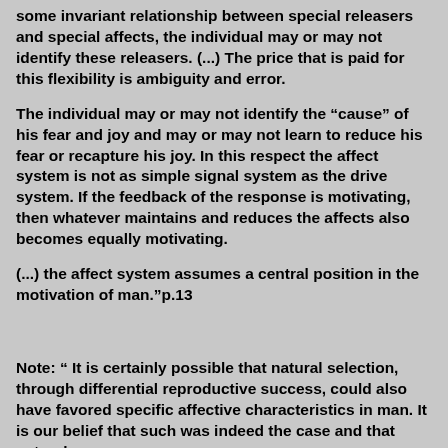some invariant relationship between special releasers and special affects, the individual may or may not identify these releasers. (...) The price that is paid for this flexibility is ambiguity and error.
The individual may or may not identify the “cause” of his fear and joy and may or may not learn to reduce his fear or recapture his joy. In this respect the affect system is not as simple signal system as the drive system. If the feedback of the response is motivating, then whatever maintains and reduces the affects also becomes equally motivating.
(...) the affect system assumes a central position in the motivation of man.”p.13
Note: “ It is certainly possible that natural selection, through differential reproductive success, could also have favored specific affective characteristics in man. It is our belief that such was indeed the case and that natural